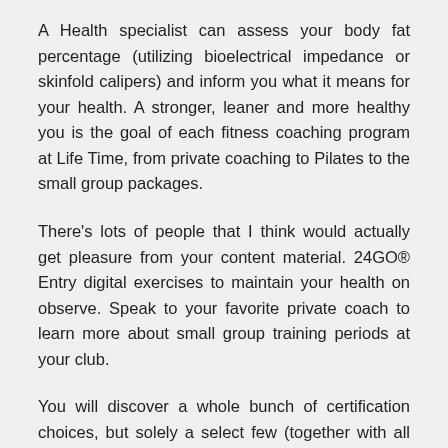A Health specialist can assess your body fat percentage (utilizing bioelectrical impedance or skinfold calipers) and inform you what it means for your health. A stronger, leaner and more healthy you is the goal of each fitness coaching program at Life Time, from private coaching to Pilates to the small group packages.
There's lots of people that I think would actually get pleasure from your content material. 24GO® Entry digital exercises to maintain your health on observe. Speak to your favorite private coach to learn more about small group training periods at your club.
You will discover a whole bunch of certification choices, but solely a select few (together with all four ACE Certifications) are accredited by the Nationwide Commission for Certifying Businesses (NCCA)—the gold normal for accreditation of quality certifications in healthcare, health, well being, teaching and other